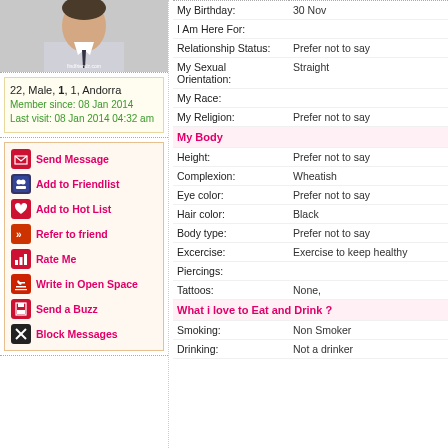[Figure (photo): Profile photo of a male user, partially visible, with findfriendz.com watermark]
22, Male, 1, 1, Andorra
Member since: 08 Jan 2014
Last visit: 08 Jan 2014 04:32 am
Send Message
Add to Friendlist
Add to Hot List
Refer to friend
Rate Me
Write in Open Space
Send a Buzz
Block Messages
| Field | Value |
| --- | --- |
| My Birthday: | 30 Nov |
| I Am Here For: |  |
| Relationship Status: | Prefer not to say |
| My Sexual Orientation: | Straight |
| My Race: |  |
| My Religion: | Prefer not to say |
| My Body |  |
| Height: | Prefer not to say |
| Complexion: | Wheatish |
| Eye color: | Prefer not to say |
| Hair color: | Black |
| Body type: | Prefer not to say |
| Excercise: | Exercise to keep healthy |
| Piercings: |  |
| Tattoos: | None, |
| What i love to Eat and Drink ? |  |
| Smoking: | Non Smoker |
| Drinking: | Not a drinker |